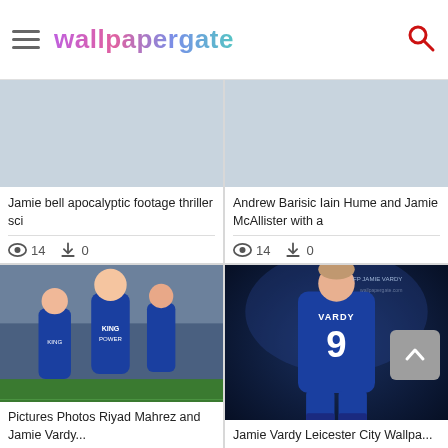wallpapergate
Jamie bell apocalyptic footage thriller sci
👁 14  ⬇ 0
Andrew Barisic Iain Hume and Jamie McAllister with a
👁 14  ⬇ 0
[Figure (photo): Football players in blue Leicester City jerseys celebrating on pitch]
Pictures Photos Riyad Mahrez and Jamie Vardy...
[Figure (photo): Jamie Vardy number 9 Leicester City jersey back view]
Jamie Vardy Leicester City Wallpa...